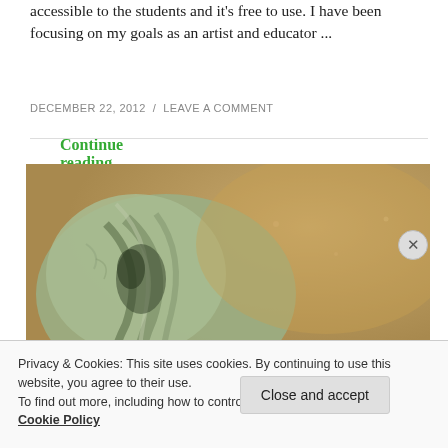accessible to the students and it's free to use. I have been focusing on my goals as an artist and educator ...
Continue reading
DECEMBER 22, 2012 / LEAVE A COMMENT
[Figure (photo): Close-up photograph of clay or dough being worked, showing textured folds in muted green-grey and tan/golden tones]
Privacy & Cookies: This site uses cookies. By continuing to use this website, you agree to their use.
To find out more, including how to control cookies, see here:
Cookie Policy
Close and accept